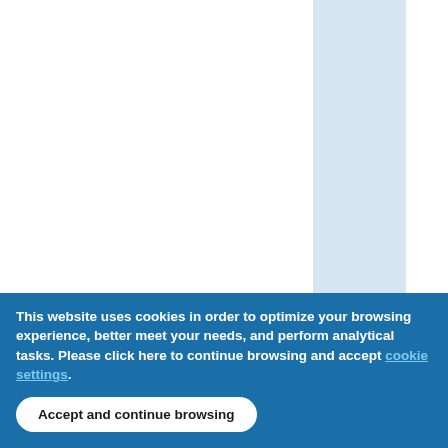[Figure (screenshot): A webpage screenshot showing a two-column layout: a white left area and a light blue center column, with a rotated blue text label on the right side reading 'eDS" :IntroductiontoCon' (part of a longer navigation/header label). The upper portion is mostly white/light-blue columns.]
This website uses cookies in order to optimize your browsing experience, better meet your needs, and perform analytical tasks. Please click here to continue browsing and accept [cookie settings link].
Accept and continue browsing